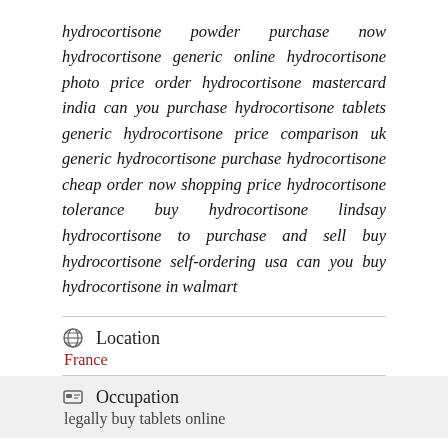hydrocortisone powder purchase now hydrocortisone generic online hydrocortisone photo price order hydrocortisone mastercard india can you purchase hydrocortisone tablets generic hydrocortisone price comparison uk generic hydrocortisone purchase hydrocortisone cheap order now shopping price hydrocortisone tolerance buy hydrocortisone lindsay hydrocortisone to purchase and sell buy hydrocortisone self-ordering usa can you buy hydrocortisone in walmart
Location
France
Occupation
legally buy tablets online
Social Networks
Member Activity